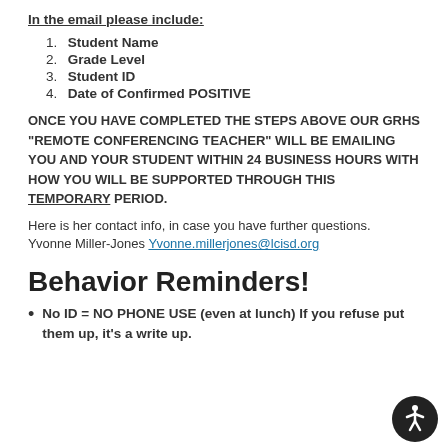In the email please include:
1. Student Name
2. Grade Level
3. Student ID
4. Date of Confirmed POSITIVE
ONCE YOU HAVE COMPLETED THE STEPS ABOVE OUR GRHS "REMOTE CONFERENCING TEACHER" WILL BE EMAILING YOU AND YOUR STUDENT WITHIN 24 BUSINESS HOURS WITH HOW YOU WILL BE SUPPORTED THROUGH THIS TEMPORARY PERIOD.
Here is her contact info, in case you have further questions. Yvonne Miller-Jones Yvonne.millerjones@lcisd.org
Behavior Reminders!
No ID = NO PHONE USE (even at lunch) If you refuse put them up, it's a write up.